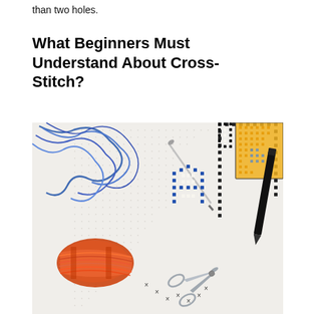than two holes.
What Beginners Must Understand About Cross-Stitch?
[Figure (photo): Close-up photograph of a cross-stitch project on white Aida fabric showing blue and black cross-stitch letters/characters in progress, with a needle inserted, orange embroidery floss skein in the lower left, silver scissors at the bottom, a yellow and blue patterned cross-stitch element in the upper right, and a black pen/marker on the right side.]